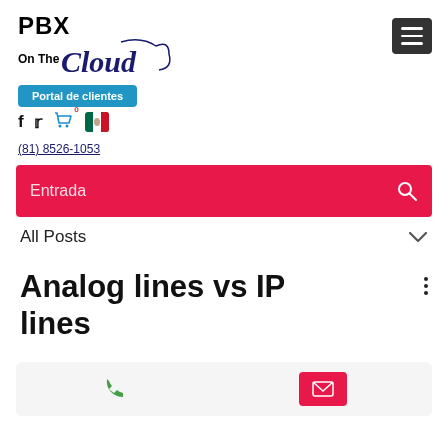[Figure (logo): PBX On The Cloud logo with stylized cloud arc in navy/dark blue]
[Figure (other): Hamburger menu button (three horizontal lines) on dark background]
Portal de clientes
[Figure (other): Social icons: Facebook f, Twitter bird, shopping cart with 0 badge, Mexico flag icon]
(81) 8526-1053
Entrada
All Posts
Analog lines vs IP lines
[Figure (other): Contact bar with green phone icon and magenta email icon]